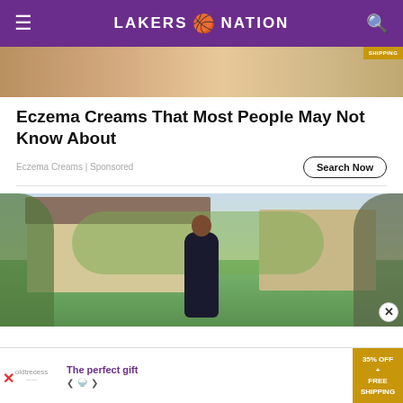LAKERS 🏀 NATION
[Figure (photo): Top advertisement image showing a close-up of skin with a gold/yellow object, with a yellow 'SHIPPING' badge in the top right]
Eczema Creams That Most People May Not Know About
Eczema Creams | Sponsored
Search Now
[Figure (photo): A woman in dark clothing standing in front of a large suburban house with lush greenery and trees]
[Figure (advertisement): Bottom banner ad: 'The perfect gift' with food bowl imagery and '35% OFF + FREE SHIPPING' badge in gold]